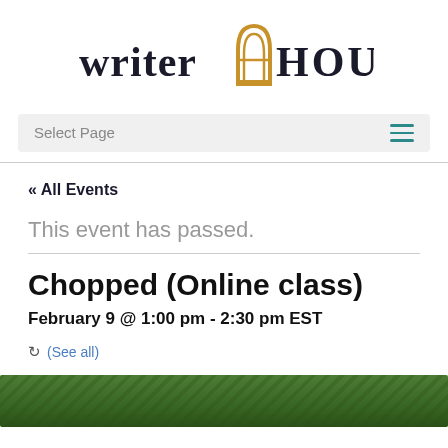[Figure (logo): Writer House logo with golden arch/pencil icon between the words 'writer' and 'HOUSE' in dark serif font]
Select Page
« All Events
This event has passed.
Chopped (Online class)
February 9 @ 1:00 pm - 2:30 pm EST
(See all)
[Figure (photo): Green leafy plants/foliage photo at the bottom of the page]